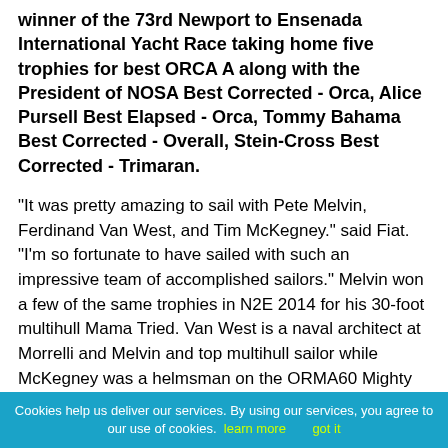winner of the 73rd Newport to Ensenada International Yacht Race taking home five trophies for best ORCA A along with the President of NOSA Best Corrected - Orca, Alice Pursell Best Elapsed - Orca, Tommy Bahama Best Corrected - Overall, Stein-Cross Best Corrected - Trimaran.
"It was pretty amazing to sail with Pete Melvin, Ferdinand Van West, and Tim McKegney." said Fiat. "I'm so fortunate to have sailed with such an impressive team of accomplished sailors." Melvin won a few of the same trophies in N2E 2014 for his 30-foot multihull Mama Tried. Van West is a naval architect at Morrelli and Melvin and top multihull sailor while McKegney was a helmsman on the ORMA60 Mighty Merloe, another N2E race-winning trimaran.
The win also garnered Alamitos Bay Yacht Club the trophy for the most wins for a club.
One of the dozen or so boats less than 34-feet that sailed
Cookies help us deliver our services. By using our services, you agree to our use of cookies. learn more   got it